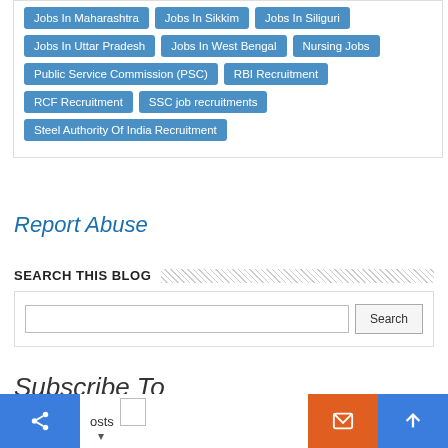Jobs In Maharashtra
Jobs In Sikkim
Jobs In Siliguri
Jobs In Uttar Pradesh
Jobs In West Bengal
Nursing Jobs
Public Service Commission (PSC)
RBI Recruitment
RCF Recruitment
SSC job recruitments
Steel Authority Of India Recruitment
Report Abuse
SEARCH THIS BLOG
Subscribe To